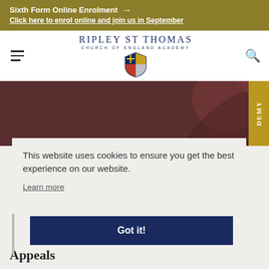Sixth Form Online Enrolment → Click here to enrol online and join us in September
[Figure (logo): Ripley St Thomas Church of England Academy logo with shield crest]
[Figure (photo): Dark brownish-red hero image with architectural detail and gold text 'DEMY' partially visible on right]
This website uses cookies to ensure you get the best experience on our website. Learn more
Got it!
Appeals